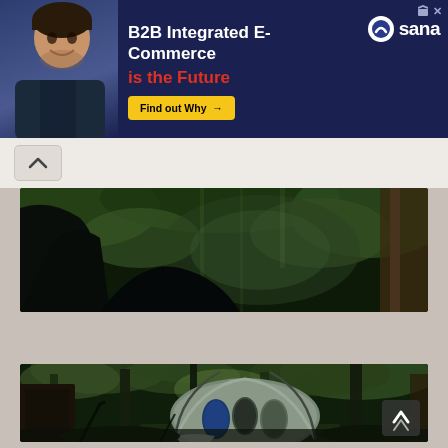[Figure (other): Advertisement banner with dark navy background. Shows a man in dark shirt on left, text 'B2B Integrated E-Commerce is the Future' in white and red, Sana logo with circular icon on upper right, yellow 'Find out Why' button, and small ad badge icons in top right corner.]
[Figure (photo): Close-up photo of the interior or entrance of a tent structure, showing dark curved poles and green forest foliage visible through the opening.]
[Figure (photo): Wide exterior photo of an unusual dome/arch-shaped tent or temporary structure with oval windows/openings in blue and grey, situated in a lush green forested area with tall trees. A scroll-to-top button with an upward arrow is overlaid in the bottom right corner.]